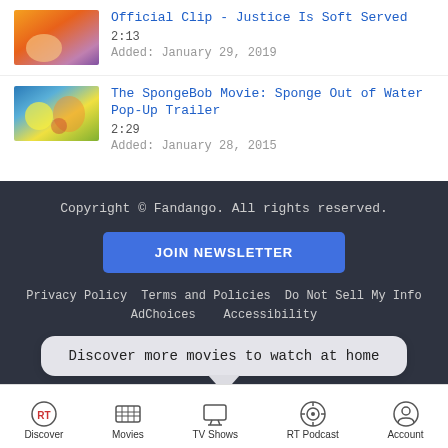Official Clip - Justice Is Soft Served
2:13
Added: January 29, 2019
The SpongeBob Movie: Sponge Out of Water Pop-Up Trailer
2:29
Added: January 28, 2015
Copyright © Fandango. All rights reserved.
JOIN NEWSLETTER
Privacy Policy   Terms and Policies   Do Not Sell My Info
AdChoices   Accessibility
Discover more movies to watch at home
Discover   Movies   TV Shows   RT Podcast   Account